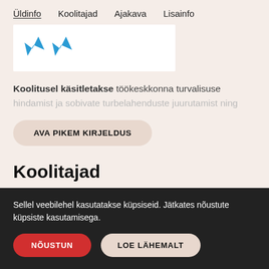Üldinfo  Koolitajad  Ajakava  Lisainfo
[Figure (illustration): Two blue star/arrow shapes on a white card background]
Koolitusel käsitletakse töökeskkonna turvalisuse hindamist ja sobivate turbelahenduste juurutamist ning
AVA PIKEM KIRJELDUS
Koolitajad
Sellel veebilehel kasutatakse küpsiseid. Jätkates nõustute küpsiste kasutamisega.
NÕUSTUN
LOE LÄHEMALT